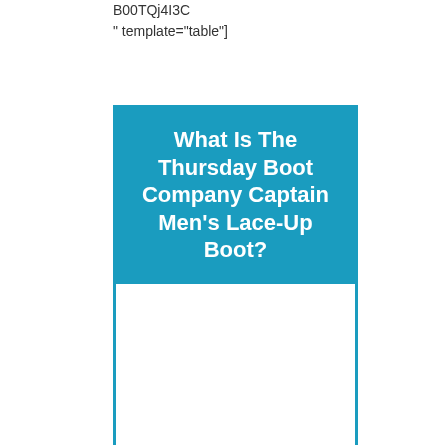B00TQj4I3C
" template="table"]
What Is The Thursday Boot Company Captain Men's Lace-Up Boot?